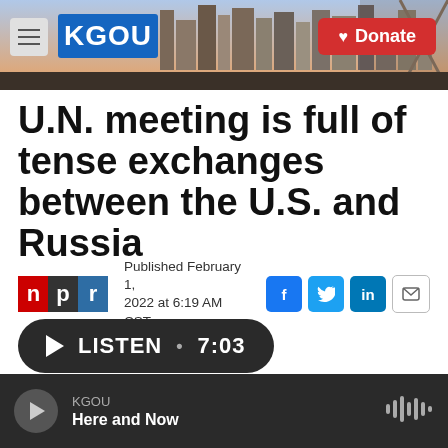[Figure (screenshot): KGOU radio station website header with logo, city skyline background image, hamburger menu icon, and red Donate button]
U.N. meeting is full of tense exchanges between the U.S. and Russia
Published February 1, 2022 at 6:19 AM CST
[Figure (logo): NPR logo with three colored blocks: red N, dark P, blue R]
[Figure (infographic): Social sharing buttons: Facebook (f), Twitter (bird), LinkedIn (in), email (envelope)]
LISTEN • 7:03
KGOU Here and Now